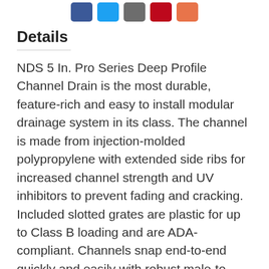[Figure (other): Row of social media sharing buttons: Facebook (blue), Twitter (light blue), Email/share (gray), Pinterest (red), Google+ or similar (orange-red)]
Details
NDS 5 In. Pro Series Deep Profile Channel Drain is the most durable, feature-rich and easy to install modular drainage system in its class. The channel is made from injection-molded polypropylene with extended side ribs for increased channel strength and UV inhibitors to prevent fading and cracking. Included slotted grates are plastic for up to Class B loading and are ADA-compliant. Channels snap end-to-end quickly and easily with robust male-to-female locking clips for long channel runs. Cut guides allow the channel to be shortened by 4 In. increments for smaller interlocking sections. Included end cap and end outlet combined with integrated second bottom outlet and side-outlet knockouts provide eight outlet options per channel